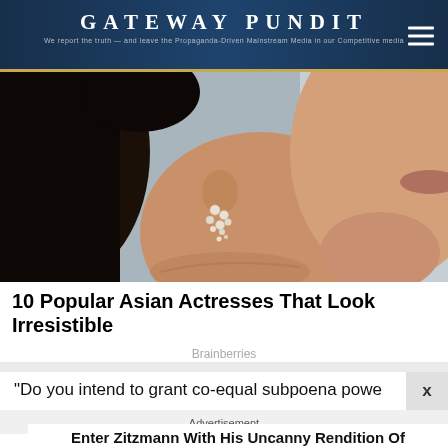GATEWAY PUNDIT
We report the truth — and leave the Propaganda-Driven Mainstream Media in our Competitive media
[Figure (photo): Close-up photo of a woman's face and neck, showing her ear with a pearl/crystal earring. Background is blurred gray. Hair is dark.]
10 Popular Asian Actresses That Look Irresistible
Brainberries
“Do you intend to grant co-equal subpoena powe
Advertisement
Enter Zitzmann With His Uncanny Rendition Of “Unchained Melody”
Brainberries